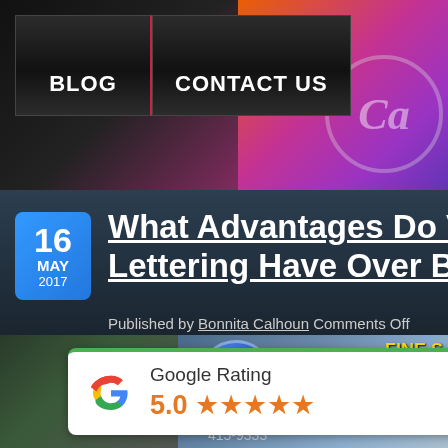[Figure (screenshot): Website navigation bar with BLOG and CONTACT US buttons on dark background with colorful gradient overlay on right side]
What Advantages Do Vehicle Lettering Have Over Billboards
Published by Bonnita Calhoun Comments Off
[Figure (photo): Photo of a van with Full Detail Auto lettering and fine detail text, partially visible]
Google Rating 5.0 ★★★★★